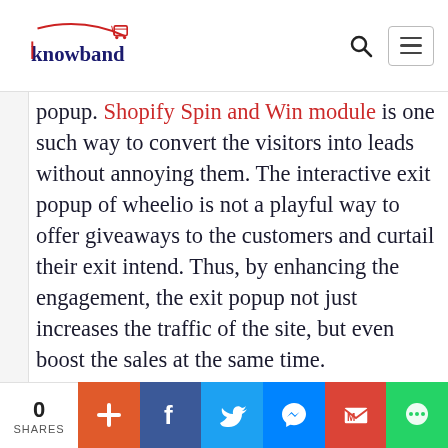Knowband
popup. Shopify Spin and Win module is one such way to convert the visitors into leads without annoying them. The interactive exit popup of wheelio is not a playful way to offer giveaways to the customers and curtail their exit intend. Thus, by enhancing the engagement, the exit popup not just increases the traffic of the site, but even boost the sales at the same time.
0 SHARES | social share buttons: add, facebook, twitter, messenger, gmail, chat